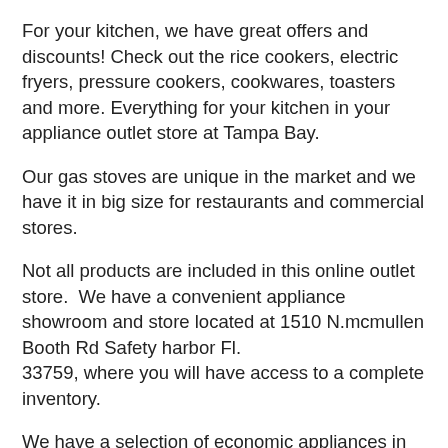For your kitchen, we have great offers and discounts! Check out the rice cookers, electric fryers, pressure cookers, cookwares, toasters and more. Everything for your kitchen in your appliance outlet store at Tampa Bay.
Our gas stoves are unique in the market and we have it in big size for restaurants and commercial stores.
Not all products are included in this online outlet store.  We have a convenient appliance showroom and store located at 1510 N.mcmullen Booth Rd Safety harbor Fl. 33759, where you will have access to a complete inventory.
We have a selection of economic appliances in the outlet store, with an efficiency consume of energy, in some cases tax included and reasonable shipping.
We have financing options as well. Applying easily with Snap you can get up to $ 5,000, no credit needed. Just send a text message writing 48956 to the number 48078 and you will get